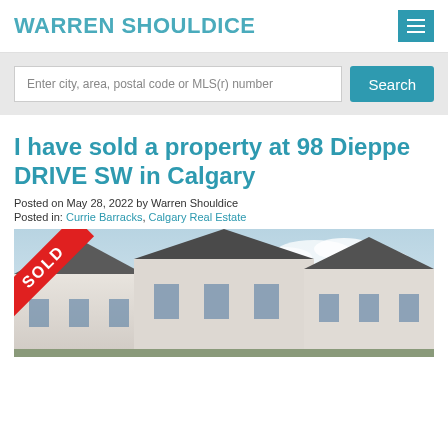WARREN SHOULDICE
Enter city, area, postal code or MLS(r) number
I have sold a property at 98 Dieppe DRIVE SW in Calgary
Posted on May 28, 2022 by Warren Shouldice
Posted in: Currie Barracks, Calgary Real Estate
[Figure (photo): Exterior photo of a residential property at 98 Dieppe Drive SW in Calgary with a red SOLD ribbon banner overlaid in the top-left corner. The image shows townhouse-style homes with dark shingled roofs against a partly cloudy sky.]